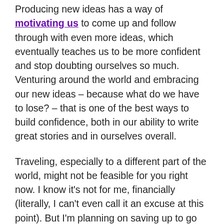Producing new ideas has a way of motivating us to come up and follow through with even more ideas, which eventually teaches us to be more confident and stop doubting ourselves so much. Venturing around the world and embracing our new ideas – because what do we have to lose? – that is one of the best ways to build confidence, both in our ability to write great stories and in ourselves overall.
Traveling, especially to a different part of the world, might not be feasible for you right now. I know it's not for me, financially (literally, I can't even call it an excuse at this point). But I'm planning on saving up to go somewhere overseas, and so should you.
I've been out of the country really only once in my life, and I've probably written more since then than I have my whole life. Start making plans. Unlock your creativity. It